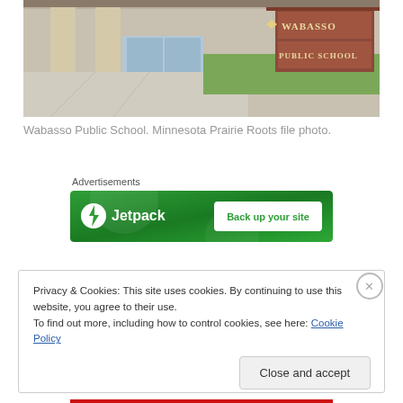[Figure (photo): Exterior photo of Wabasso Public School building showing entrance with brick pillars, concrete walkway, grass, and a brick sign reading 'WABASSO PUBLIC SCHOOL']
Wabasso Public School. Minnesota Prairie Roots file photo.
Advertisements
[Figure (screenshot): Jetpack advertisement banner with green background showing Jetpack logo and 'Back up your site' button]
Privacy & Cookies: This site uses cookies. By continuing to use this website, you agree to their use.
To find out more, including how to control cookies, see here: Cookie Policy
Close and accept